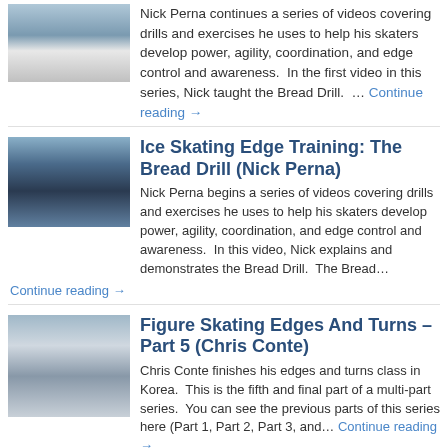[Figure (photo): Ice skating coach on rink, partial view at top]
Nick Perna continues a series of videos covering drills and exercises he uses to help his skaters develop power, agility, coordination, and edge control and awareness.  In the first video in this series, Nick taught the Bread Drill.  … Continue reading →
[Figure (photo): Nick Perna standing on ice rink in dark uniform]
Ice Skating Edge Training: The Bread Drill (Nick Perna)
Nick Perna begins a series of videos covering drills and exercises he uses to help his skaters develop power, agility, coordination, and edge control and awareness.  In this video, Nick explains and demonstrates the Bread Drill.  The Bread…
Continue reading →
[Figure (photo): Figure skaters practicing on ice rink, multiple people visible]
Figure Skating Edges And Turns – Part 5 (Chris Conte)
Chris Conte finishes his edges and turns class in Korea.  This is the fifth and final part of a multi-part series.  You can see the previous parts of this series here (Part 1, Part 2, Part 3, and… Continue reading → →
[Figure (photo): Figure skater on ice rink, indoor arena]
Figure Skating Edges And Turns – Part 4 (Chris Conte)
skating.com/site.php/spgs/read/chris_conte/">Chris